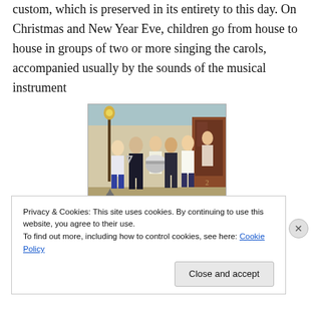custom, which is preserved in its entirety to this day. On Christmas and New Year Eve, children go from house to house in groups of two or more singing the carols, accompanied usually by the sounds of the musical instrument
[Figure (illustration): A painting depicting children caroling outdoors, carrying musical instruments including a drum, with a doorway in the background.]
“triangle,” but also guitars, accordions, lyres and harmonicas.
Privacy & Cookies: This site uses cookies. By continuing to use this website, you agree to their use.
To find out more, including how to control cookies, see here: Cookie Policy